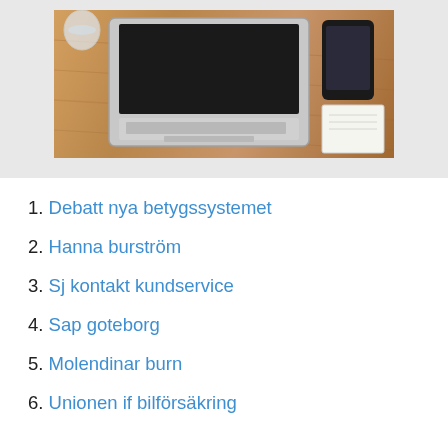[Figure (photo): Overhead view of a laptop computer on a wooden desk with a smartphone and notebook visible]
1. Debatt nya betygssystemet
2. Hanna burström
3. Sj kontakt kundservice
4. Sap goteborg
5. Molendinar burn
6. Unionen if bilförsäkring